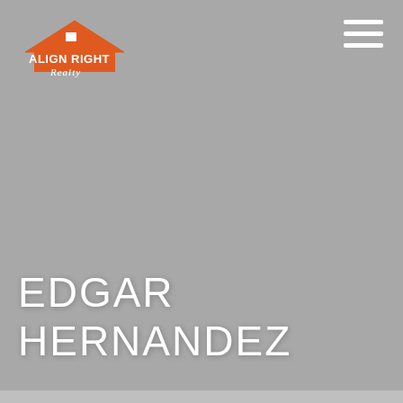[Figure (logo): Align Right Realty logo — orange house roofline with a small house icon, text 'Align Right' in bold orange, 'Realty' in orange script below]
[Figure (other): Hamburger menu icon — three horizontal white lines stacked vertically]
EDGAR HERNANDEZ